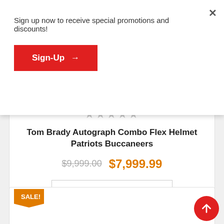Sign up now to receive special promotions and discounts!
Sign-Up →
★★★★★
Tom Brady Autograph Combo Flex Helmet Patriots Buccaneers
$9,999.00  $7,999.99
ADD TO CART
SALE!